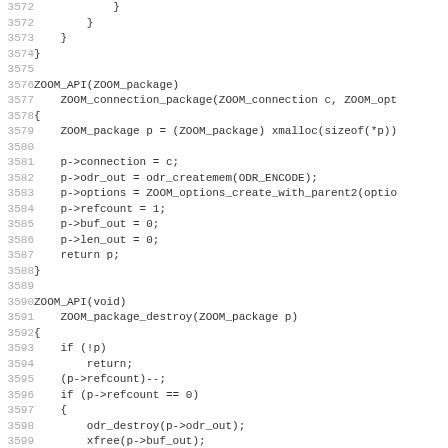Source code listing lines 3572-3603, showing C code for ZOOM_package and ZOOM_package_destroy functions